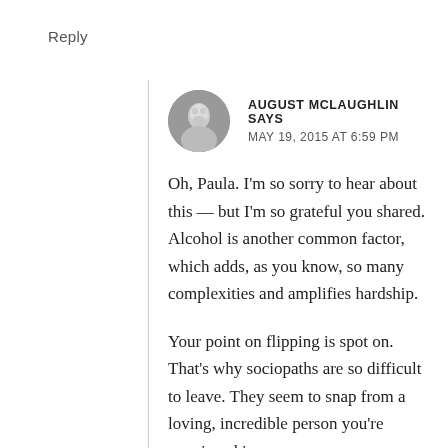Reply
AUGUST MCLAUGHLIN SAYS
MAY 19, 2015 AT 6:59 PM
Oh, Paula. I'm so sorry to hear about this — but I'm so grateful you shared. Alcohol is another common factor, which adds, as you know, so many complexities and amplifies hardship.
Your point on flipping is spot on. That's why sociopaths are so difficult to leave. They seem to snap from a loving, incredible person you're convinced is